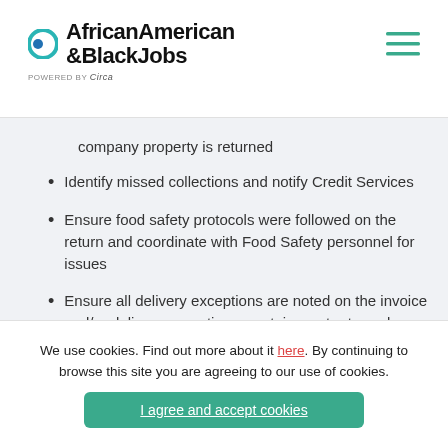AfricanAmerican &BlackJobs powered by Circa
company property is returned
Identify missed collections and notify Credit Services
Ensure food safety protocols were followed on the return and coordinate with Food Safety personnel for issues
Ensure all delivery exceptions are noted on the invoice and/or delivery exception report; inspect returned products to determine restocking appropriateness or deciding if the customer
We use cookies. Find out more about it here. By continuing to browse this site you are agreeing to our use of cookies.
I agree and accept cookies